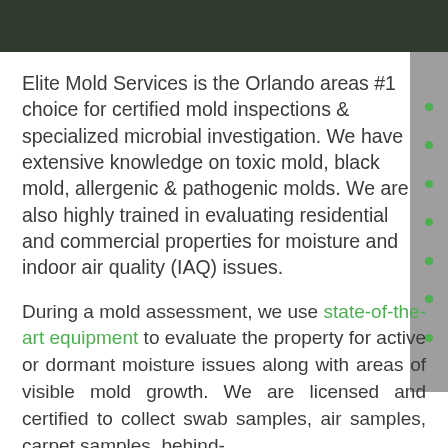Elite Mold Services is the Orlando areas #1 choice for certified mold inspections & specialized microbial investigation. We have extensive knowledge on toxic mold, black mold, allergenic & pathogenic molds. We are also highly trained in evaluating residential and commercial properties for moisture and indoor air quality (IAQ) issues.
During a mold assessment, we use state-of-the-art equipment to evaluate the property for active or dormant moisture issues along with areas of visible mold growth. We are licensed and certified to collect swab samples, air samples, carpet samples, behind-